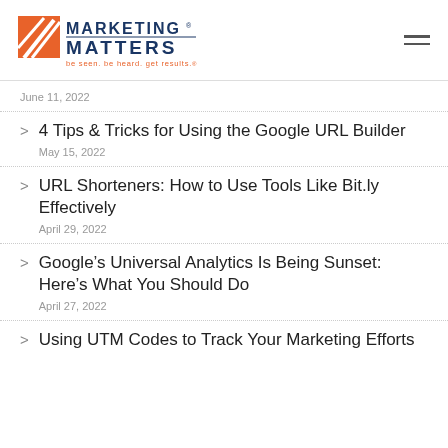[Figure (logo): Marketing Matters logo with orange/red striped icon and blue text reading MARKETING MATTERS, tagline: be seen. be heard. get results.]
June 11, 2022
4 Tips & Tricks for Using the Google URL Builder
May 15, 2022
URL Shorteners: How to Use Tools Like Bit.ly Effectively
April 29, 2022
Google's Universal Analytics Is Being Sunset: Here's What You Should Do
April 27, 2022
Using UTM Codes to Track Your Marketing Efforts